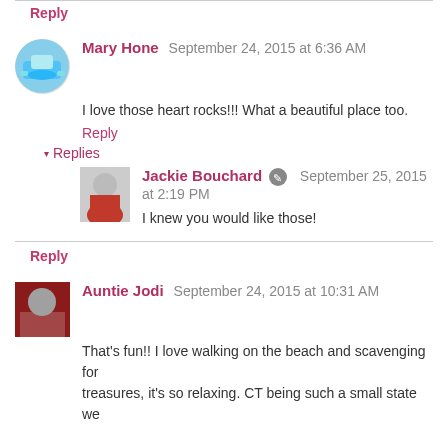Reply
Mary Hone  September 24, 2015 at 6:36 AM
I love those heart rocks!!! What a beautiful place too.
Reply
Replies
Jackie Bouchard  September 25, 2015 at 2:19 PM
I knew you would like those!
Reply
Auntie Jodi  September 24, 2015 at 10:31 AM
That's fun!! I love walking on the beach and scavenging for treasures, it's so relaxing. CT being such a small state we